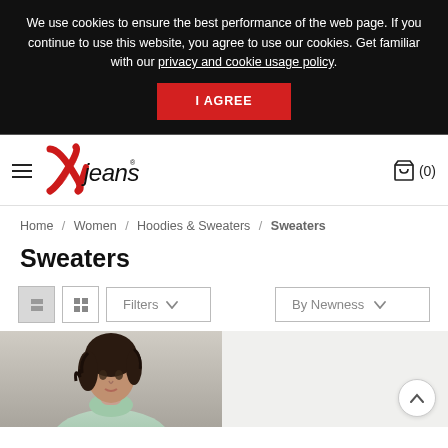We use cookies to ensure the best performance of the web page. If you continue to use this website, you agree to use our cookies. Get familiar with our privacy and cookie usage policy.
I AGREE
[Figure (logo): X Jeans logo — red stylized X with 'jeans' text in handwritten style]
(0)
Home / Women / Hoodies & Sweaters / Sweaters
Sweaters
Filters ∨
By Newness ∨
[Figure (photo): Woman with dark curly hair wearing a light green turtleneck sweater, shown from shoulders up against white background]